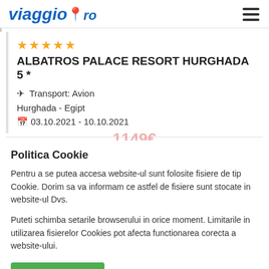viaggio.ro
★★★★★
ALBATROS PALACE RESORT HURGHADA 5 *
✈ Transport: Avion
Hurghada - Egipt
📅 03.10.2021 - 10.10.2021
1149€
/ persoana / 7 nopti
Politica Cookie
Pentru a se putea accesa website-ul sunt folosite fisiere de tip Cookie. Dorim sa va informam ce astfel de fisiere sunt stocate in website-ul Dvs.
Puteti schimba setarile browserului in orice moment. Limitarile in utilizarea fisierelor Cookies pot afecta functionarea corecta a website-ului.
Sunt de acord